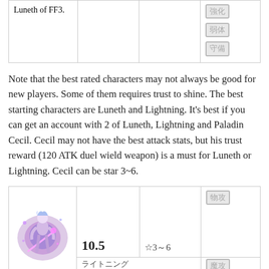| Luneth of FF3. |  |  | 強化
弱体
守備 |
Note that the best rated characters may not always be good for new players. Some of them requires trust to shine. The best starting characters are Luneth and Lightning. It's best if you can get an account with 2 of Luneth, Lightning and Paladin Cecil. Cecil may not have the best attack stats, but his trust reward (120 ATK duel wield weapon) is a must for Luneth or Lightning. Cecil can be star 3~6.
| [character image] | 10.5 | ☆3～6 | 物攻 |
| [name] |  |  | 魔攻 |